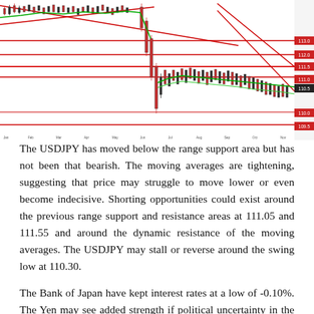[Figure (continuous-plot): USDJPY candlestick chart showing price movement with moving averages (green lines), trend lines (red diagonal lines), and horizontal support/resistance levels (red horizontal lines). Price showed a sharp drop then consolidation. Y-axis shows price levels around 110-113. X-axis shows dates over several months.]
The USDJPY has moved below the range support area but has not been that bearish. The moving averages are tightening, suggesting that price may struggle to move lower or even become indecisive. Shorting opportunities could exist around the previous range support and resistance areas at 111.05 and 111.55 and around the dynamic resistance of the moving averages. The USDJPY may stall or reverse around the swing low at 110.30.
The Bank of Japan have kept interest rates at a low of -0.10%. The Yen may see added strength if political uncertainty in the US or Europe intensifies. The US